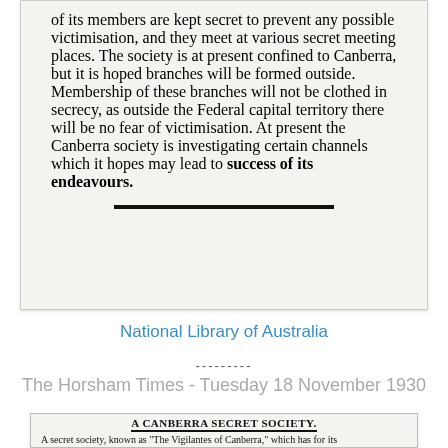[Figure (photo): Scanned newspaper clipping showing article text about a secret society in Canberra, with a thick horizontal rule at the bottom]
National Library of Australia
---------
The Horsham Times - Tuesday 18 November 1930
[Figure (photo): Scanned newspaper clipping with headline 'A CANBERRA SECRET SOCIETY.' and opening text 'A secret society, known as "The Vigilantes of Canberra," which has for its']